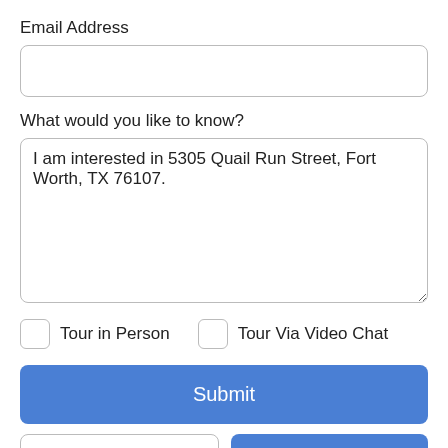Email Address
What would you like to know?
I am interested in 5305 Quail Run Street, Fort Worth, TX 76107.
Tour in Person
Tour Via Video Chat
Submit
Take a Tour
Ask A Question
Enter your message and email about your inquiry